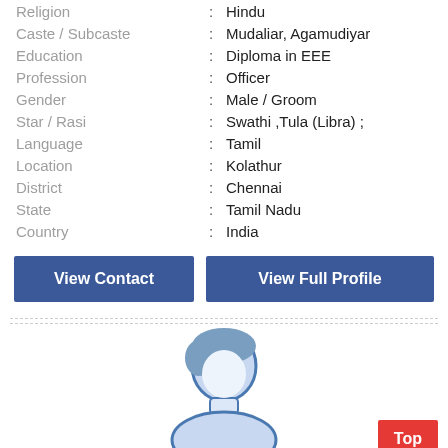| Field | : | Value |
| --- | --- | --- |
| Religion | : | Hindu |
| Caste / Subcaste | : | Mudaliar, Agamudiyar |
| Education | : | Diploma in EEE |
| Profession | : | Officer |
| Gender | : | Male / Groom |
| Star / Rasi | : | Swathi ,Tula (Libra) ; |
| Language | : | Tamil |
| Location | : | Kolathur |
| District | : | Chennai |
| State | : | Tamil Nadu |
| Country | : | India |
View Contact
View Full Profile
[Figure (illustration): Default male avatar placeholder image — silhouette of a man's head and shoulders in blue tones]